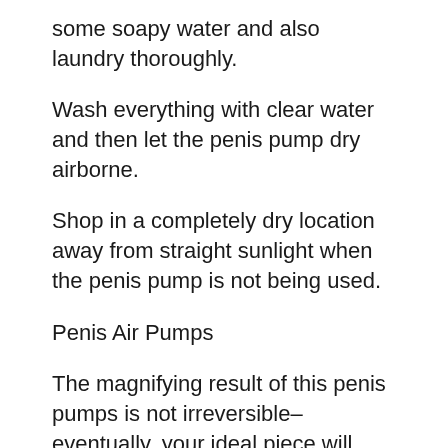some soapy water and also laundry thoroughly.
Wash everything with clear water and then let the penis pump dry airborne.
Shop in a completely dry location away from straight sunlight when the penis pump is not being used.
Penis Air Pumps
The magnifying result of this penis pumps is not irreversible– eventually, your ideal piece will swell and start to change to its original size. Also for the permanent augmentation of your penis there are aids in the erotic industry, but these call for a lot of